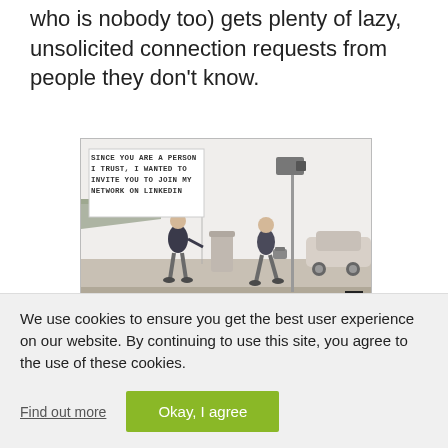who is nobody too) gets plenty of lazy, unsolicited connection requests from people they don't know.
[Figure (illustration): Cartoon showing a man on a street saying 'SINCE YOU ARE A PERSON I TRUST, I WANTED TO INVITE YOU TO JOIN MY NETWORK ON LINKEDIN' to a passing stranger. Street scene with a trash can, lamppost with camera, and a car. Signed TOM FISH [something] in bottom right corner.]
We use cookies to ensure you get the best user experience on our website. By continuing to use this site, you agree to the use of these cookies.
Find out more
Okay, I agree